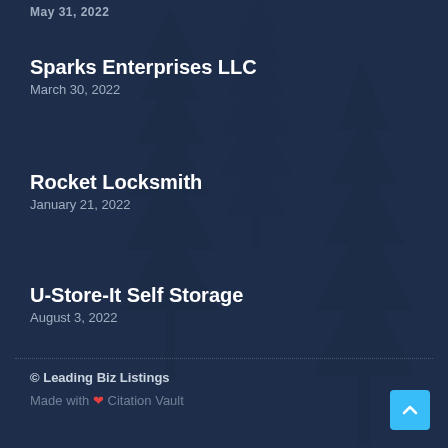May 31, 2022
Sparks Enterprises LLC
March 30, 2022
Rocket Locksmith
January 21, 2022
U-Store-It Self Storage
August 3, 2022
© Leading Biz Listings
Made with ❤ Citation Vault